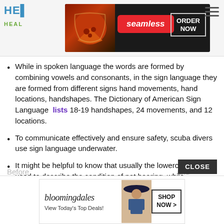HE / HEAL
[Figure (screenshot): Seamless food delivery ad banner with pizza image, seamless logo in red, and ORDER NOW button]
While in spoken language the words are formed by combining vowels and consonants, in the sign language they are formed from different signs hand movements, hand locations, handshapes. The Dictionary of American Sign Language lists 18-19 handshapes, 24 movements, and 12 locations.
To communicate effectively and ensure safety, scuba divers use sign language underwater.
It might be helpful to know that usually the lowercase deaf is used to describe the condition of not hearing, while uppercase Deaf refers to culture and a specific group of people who communicate in ASL
Before ... and
[Figure (screenshot): Bloomingdale's advertisement: View Today's Top Deals! with woman in hat and SHOP NOW button]